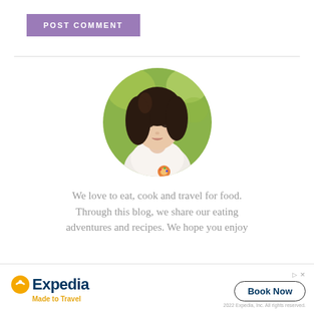[Figure (other): Purple button labeled POST COMMENT]
[Figure (photo): Circular profile photo of a young woman with dark hair, wearing white, looking down, with green background]
We love to eat, cook and travel for food. Through this blog, we share our eating adventures and recipes. We hope you enjoy
[Figure (other): Expedia advertisement banner with logo, Made to Travel tagline, Book Now button, and 2022 Expedia Inc. All rights reserved copyright]